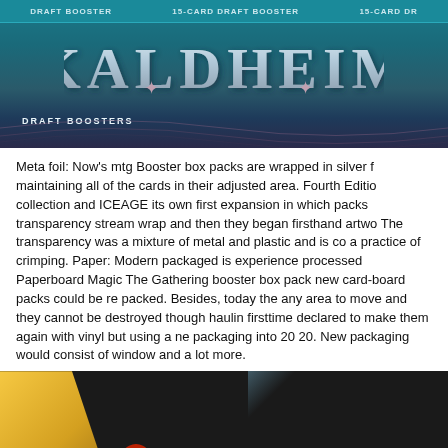[Figure (photo): Kaldheim Magic: The Gathering Draft Boosters box packaging with teal/blue gradient background and stylized KALDHEIM logo text]
Meta foil: Now's mtg Booster box packs are wrapped in silver foil maintaining all of the cards in their adjusted area. Fourth Edition collection and ICEAGE its own first expansion in which packs transparency stream wrap and then they began firsthand artwo The transparency was a mixture of metal and plastic and is co a practice of crimping. Paper: Modern packaged is experienced processed Paperboard Magic The Gathering booster box pack new card-board packs could be re packed. Besides, today the any area to move and they cannot be destroyed though haulin firsttime declared to make them again with vinyl but using a ne packaging into 20 20. New packaging would consist of window and a lot more.
[Figure (photo): Magic: The Gathering booster box packaging with yellow/gold frame on left, dark black box in center with Magic The Gathering logo, blue sky background and green area on right]